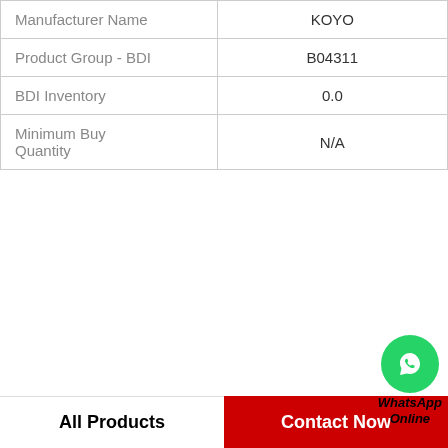|  |  |
| --- | --- |
| Manufacturer Name | KOYO |
| Product Group - BDI | B04311 |
| BDI Inventory | 0.0 |
| Minimum Buy Quantity | N/A |
[Figure (other): WhatsApp Online button with green phone icon]
View more
Company Profile
JC Bearing Services Co., Ltd.
Worktime   9:00 18:00
All Products   Contact Now